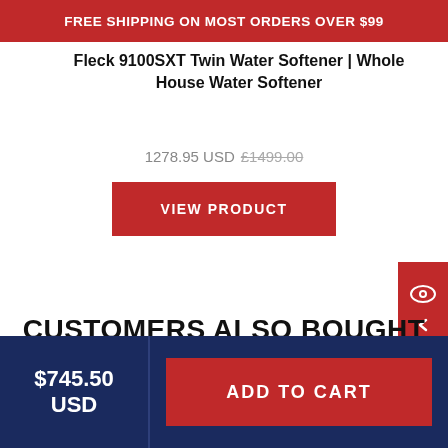FREE SHIPPING ON MOST ORDERS OVER $99
Fleck 9100SXT Twin Water Softener | Whole House Water Softener
1278.95 USD £1499.00
VIEW PRODUCT
CUSTOMERS ALSO BOUGHT
$745.50 USD
ADD TO CART